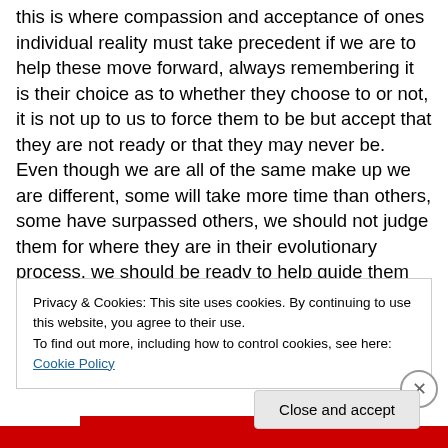this is where compassion and acceptance of ones individual reality must take precedent if we are to help these move forward, always remembering it is their choice as to whether they choose to or not, it is not up to us to force them to be but accept that they are not ready or that they may never be. Even though we are all of the same make up we are different, some will take more time than others, some have surpassed others, we should not judge them for where they are in their evolutionary process, we should be ready to help guide them when they are. Never give up, remain positive and always be true to the soul, for
Privacy & Cookies: This site uses cookies. By continuing to use this website, you agree to their use.
To find out more, including how to control cookies, see here: Cookie Policy
Close and accept